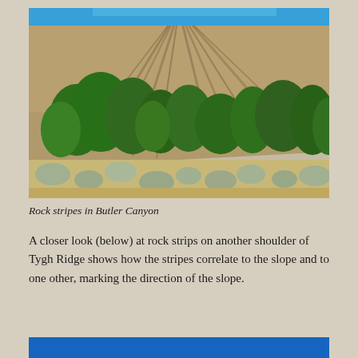[Figure (photo): Photograph of a hillside in Butler Canyon showing rock stripes running down the slope. The upper portion shows a steep, dry, rocky hill with visible striped patterns on the surface. Mid-slope features green trees and shrubs, and the foreground has sagebrush and dry grass vegetation. Blue sky visible at the top.]
Rock stripes in Butler Canyon
A closer look (below) at rock strips on another shoulder of Tygh Ridge shows how the stripes correlate to the slope and to one other, marking the direction of the slope.
[Figure (photo): Partial view of a blue image or photograph beginning at the bottom of the page — only the top blue portion is visible.]